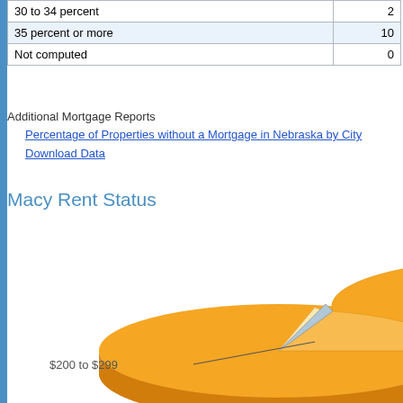|  |  |
| --- | --- |
| 30 to 34 percent | 2 |
| 35 percent or more | 10 |
| Not computed | 0 |
Additional Mortgage Reports
Percentage of Properties without a Mortgage in Nebraska by City
Download Data
Macy Rent Status
[Figure (pie-chart): 3D pie chart showing rent status for Macy. Large orange segment labeled $200 to $299, with smaller segments. Chart is partially cropped.]